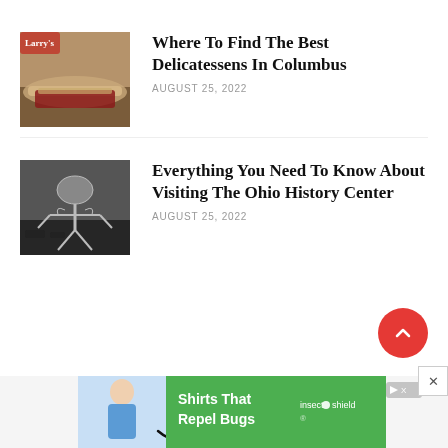[Figure (photo): Thumbnail image of a deli sandwich with meat]
Where To Find The Best Delicatessens In Columbus
AUGUST 25, 2022
[Figure (photo): Thumbnail image of a dinosaur or animal skeleton exhibit]
Everything You Need To Know About Visiting The Ohio History Center
AUGUST 25, 2022
[Figure (advertisement): Insect Shield advertisement banner with woman in blue shirt and text Shirts That Repel Bugs]